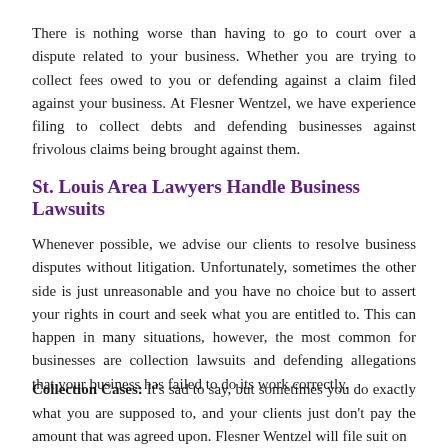There is nothing worse than having to go to court over a dispute related to your business.  Whether you are trying to collect fees owed to you or defending against a claim filed against your business.  At Flesner Wentzel, we have experience filing to collect debts and defending businesses against frivolous claims being brought against them.
St. Louis Area Lawyers Handle Business Lawsuits
Whenever possible, we advise our clients to resolve business disputes without litigation.  Unfortunately, sometimes the other side is just unreasonable and you have no choice but to assert your rights in court and seek what you are entitled to.  This can happen in many situations, however, the most common for businesses are collection lawsuits and defending allegations that your business has failed to do its work correctly.
Collection Cases: It's sad to say, but sometimes you do exactly what you are supposed to, and your clients just don't pay the amount that was agreed upon.  Flesner Wentzel will file suit on